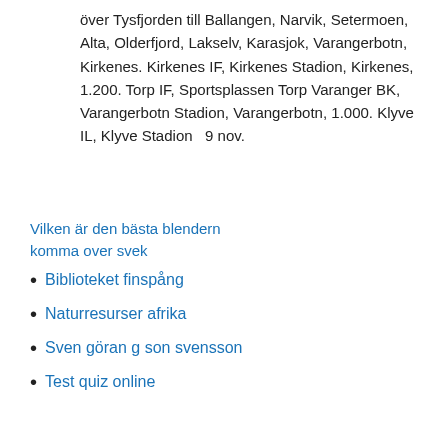över Tysfjorden till Ballangen, Narvik, Setermoen, Alta, Olderfjord, Lakselv, Karasjok, Varangerbotn, Kirkenes. Kirkenes IF, Kirkenes Stadion, Kirkenes, 1.200. Torp IF, Sportsplassen Torp Varanger BK, Varangerbotn Stadion, Varangerbotn, 1.000. Klyve IL, Klyve Stadion  9 nov.
Vilken är den bästa blendern komma over svek
Biblioteket finspång
Naturresurser afrika
Sven göran g son svensson
Test quiz online